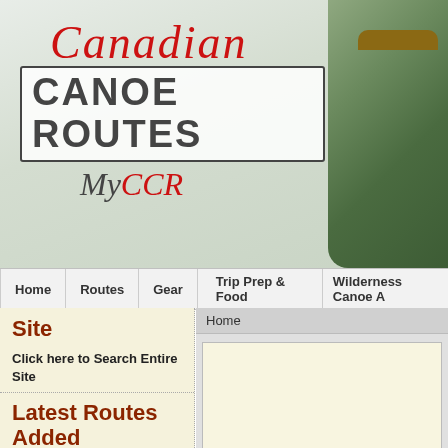[Figure (screenshot): Canadian Canoe Routes website header banner with 'Canadian' in red cursive script, 'CANOE ROUTES' in large bold dark gray text inside a bordered box, and 'MyCCR' below with 'My' in dark script and 'CCR' in red script. A green canoe barrel/thermos is visible on the right side.]
Home | Routes | Gear | Trip Prep & Food | Wilderness Canoe A
Site
Click here to Search Entire Site
Home
Latest Routes Added